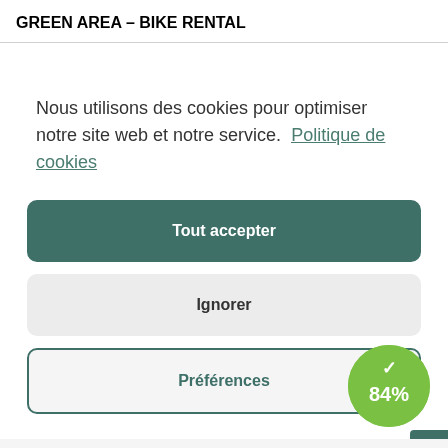GREEN AREA – BIKE RENTAL
Nous utilisons des cookies pour optimiser notre site web et notre service.  Politique de cookies
Tout accepter
Ignorer
Préférences
[Figure (infographic): Green circular badge with a checkmark and '84%' text]